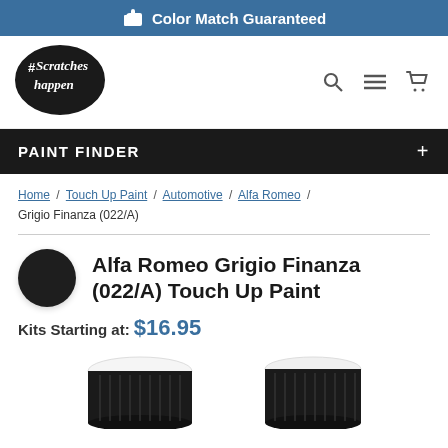Color Match Guaranteed
[Figure (logo): #ScratchesHappen brand logo — black sticker style with hashtag and handwritten text]
PAINT FINDER
Home / Touch Up Paint / Automotive / Alfa Romeo / Grigio Finanza (022/A)
Alfa Romeo Grigio Finanza (022/A) Touch Up Paint
Kits Starting at: $16.95
[Figure (photo): Two black paint bottle caps viewed from above, partially cropped at bottom of page]